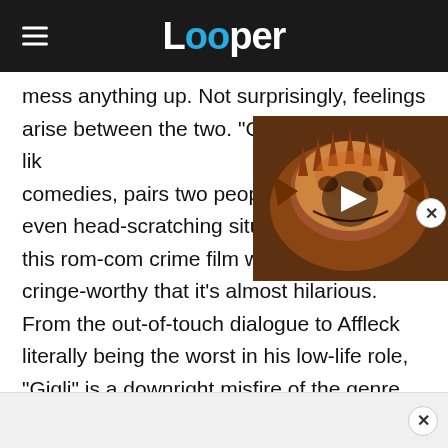Looper
mess anything up. Not surprisingly, feelings arise between the two. "Gigli," like many rom-com comedies, pairs two people in awkward, even head-scratching situations. And this rom-com crime film winds up being so cringe-worthy that it's almost hilarious. From the out-of-touch dialogue to Affleck literally being the worst in his low-life role, "Gigli" is a downright misfire of the genre ... and movies in general. So, if viewers can make it through this movie from beginning to end —
[Figure (screenshot): Video player overlay showing a close-up of a lizard (bearded dragon) with an orange/brown coloring, with a play button triangle in the center]